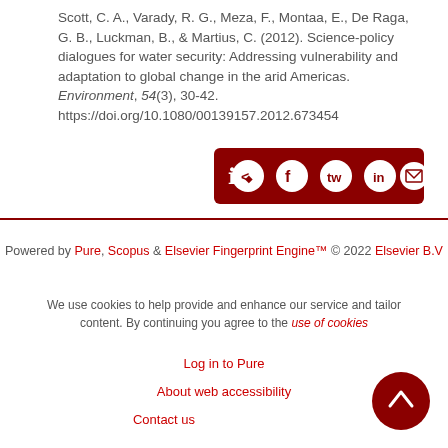Scott, C. A., Varady, R. G., Meza, F., Montaa, E., De Raga, G. B., Luckman, B., & Martius, C. (2012). Science-policy dialogues for water security: Addressing vulnerability and adaptation to global change in the arid Americas. Environment, 54(3), 30-42. https://doi.org/10.1080/00139157.2012.673454
[Figure (other): Dark red share bar with social media icons: share arrow, Facebook, Twitter, LinkedIn, Email]
Powered by Pure, Scopus & Elsevier Fingerprint Engine™ © 2022 Elsevier B.V
We use cookies to help provide and enhance our service and tailor content. By continuing you agree to the use of cookies
Log in to Pure
About web accessibility
Contact us